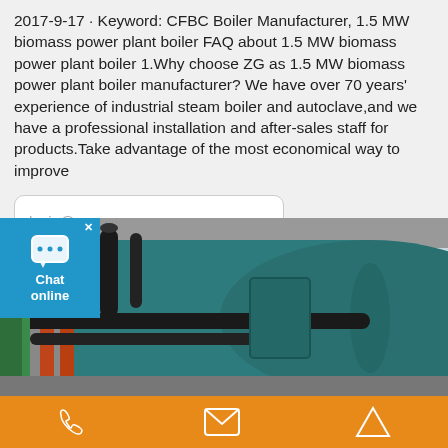2017-9-17 · Keyword: CFBC Boiler Manufacturer, 1.5 MW biomass power plant boiler FAQ about 1.5 MW biomass power plant boiler 1.Why choose ZG as 1.5 MW biomass power plant boiler manufacturer? We have over 70 years' experience of industrial steam boiler and autoclave,and we have a professional installation and after-sales staff for products.Take advantage of the most economical way to improve
lexie@zozen.com >
Get A Quote >
[Figure (photo): Industrial boiler equipment inside a facility, showing large teal/blue cylindrical boiler with pipes and structural elements]
[Figure (infographic): Chat online bubble overlay with chat icon in blue square]
Phone | Email | Upload (orange navigation bar)